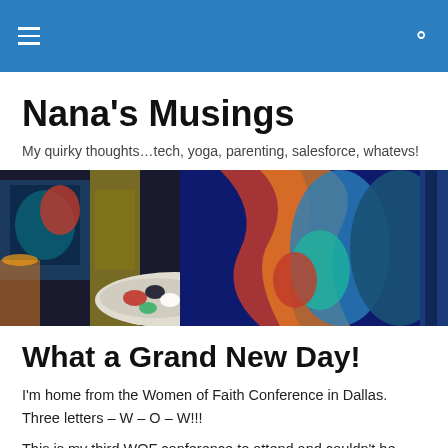Nana's Musings — navigation header bar
Nana's Musings
My quirky thoughts…tech, yoga, parenting, salesforce, whatevs!
[Figure (photo): Colorful artwork paintings on display; a table with a palette of paints in the foreground on the left, vivid abstract canvases with red, blue, and orange tones on the right.]
What a Grand New Day!
I'm home from the Women of Faith Conference in Dallas. Three letters – W – O – W!!!
This is my third WOF conference to attend and couldn't be